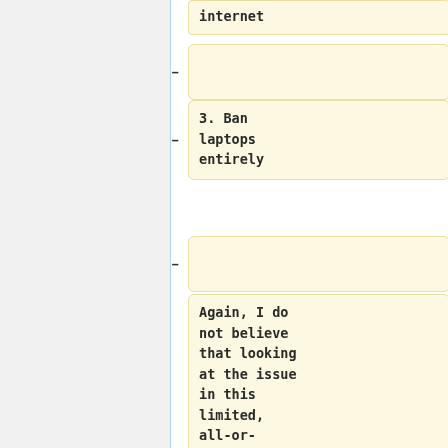internet
3. Ban laptops entirely
Again, I do not believe that looking at the issue in this limited, all-or-nothing manner is the most useful way to address the issues